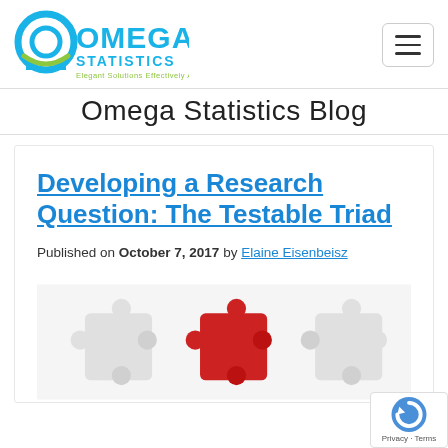Omega Statistics — logo and navigation
Omega Statistics Blog
Developing a Research Question: The Testable Triad
Published on October 7, 2017 by Elaine Eisenbeisz
[Figure (illustration): Jigsaw puzzle pieces — white pieces on left and right, red piece in center — illustrating the concept of a research question triad]